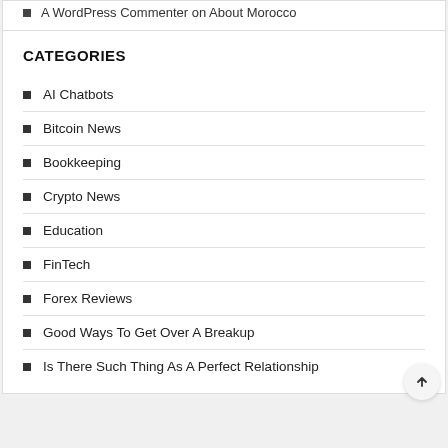A WordPress Commenter on About Morocco
CATEGORIES
AI Chatbots
Bitcoin News
Bookkeeping
Crypto News
Education
FinTech
Forex Reviews
Good Ways To Get Over A Breakup
Is There Such Thing As A Perfect Relationship